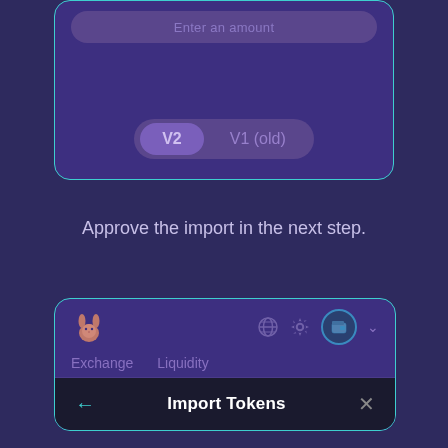[Figure (screenshot): Top card showing a version toggle with V2 (selected) and V1 (old) options on a purple dark background with teal border. An input bar at top says 'Enter an amount'.]
Approve the import in the next step.
[Figure (screenshot): Bottom section showing a PancakeSwap-like UI with a bunny logo, globe icon, settings icon, and wallet icon in the header. Below is Exchange and Liquidity navigation tabs.]
Import Tokens